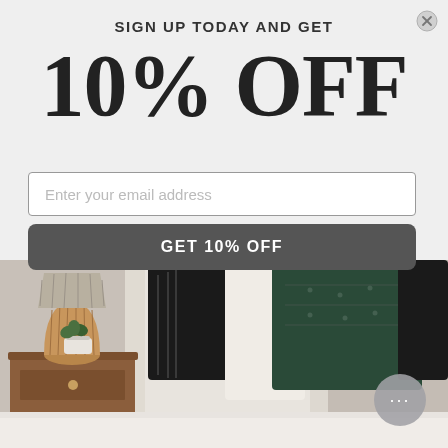[Figure (photo): Bedroom scene with decorative pillows (black, white, dark green) on a white bed, a rattan lamp with woven shade on a wooden nightstand, and a small potted plant.]
SIGN UP TODAY AND GET
10% OFF
Enter your email address
GET 10% OFF